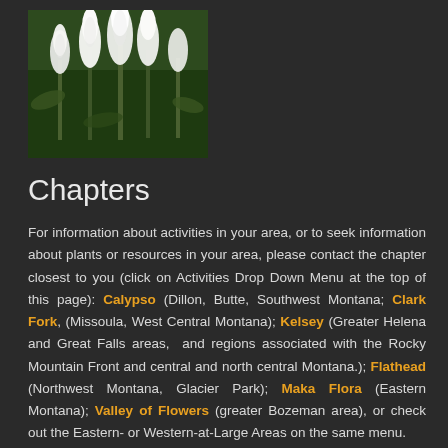[Figure (photo): Photograph of white fluffy wildflowers (Bear Grass or similar) with green foliage background]
Chapters
For information about activities in your area, or to seek information about plants or resources in your area, please contact the chapter closest to you (click on Activities Drop Down Menu at the top of this page): Calypso (Dillon, Butte, Southwest Montana; Clark Fork, (Missoula, West Central Montana); Kelsey (Greater Helena and Great Falls areas, and regions associated with the Rocky Mountain Front and central and north central Montana.); Flathead (Northwest Montana, Glacier Park); Maka Flora (Eastern Montana); Valley of Flowers (greater Bozeman area), or check out the Eastern- or Western-at-Large Areas on the same menu.